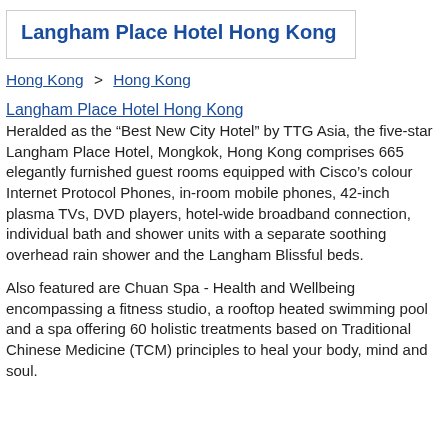Langham Place Hotel Hong Kong
Hong Kong  >  Hong Kong
Langham Place Hotel Hong Kong
Heralded as the “Best New City Hotel” by TTG Asia, the five-star Langham Place Hotel, Mongkok, Hong Kong comprises 665 elegantly furnished guest rooms equipped with Cisco’s colour Internet Protocol Phones, in-room mobile phones, 42-inch plasma TVs, DVD players, hotel-wide broadband connection, individual bath and shower units with a separate soothing overhead rain shower and the Langham Blissful beds.
Also featured are Chuan Spa - Health and Wellbeing encompassing a fitness studio, a rooftop heated swimming pool and a spa offering 60 holistic treatments based on Traditional Chinese Medicine (TCM) principles to heal your body, mind and soul.